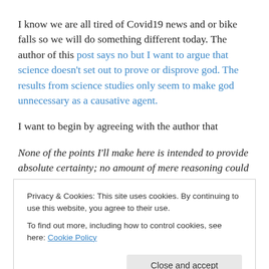I know we are all tired of Covid19 news and or bike falls so we will do something different today. The author of this post says no but I want to argue that science doesn't set out to prove or disprove god. The results from science studies only seem to make god unnecessary as a causative agent.
I want to begin by agreeing with the author that
None of the points I'll make here is intended to provide absolute certainty; no amount of mere reasoning could do
Privacy & Cookies: This site uses cookies. By continuing to use this website, you agree to their use.
To find out more, including how to control cookies, see here: Cookie Policy
its existence. You know like the sun.